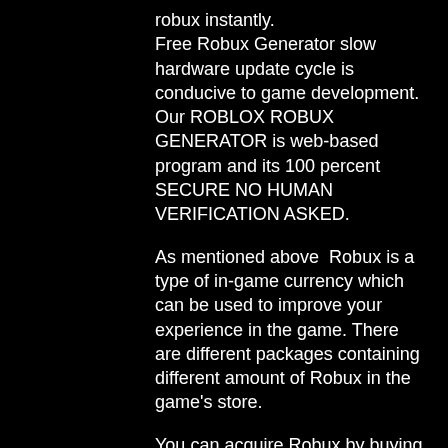robux instantly.
Free Robux Generator slow hardware update cycle is conducive to game development. Our ROBLOX ROBUX GENERATOR is web-based program and its 100 percent SECURE NO HUMAN VERIFICATION ASKED.
As mentioned above  Robux is a type of in-game currency which can be used to improve your experience in the game. There are different packages containing different amount of Robux in the game's store.
You can acquire Robux by buying it directly or by purchasing a Roblox subscription for your account. There's also a way to acquire some Robux on the side  but we'll go over that afterwards.
You can earn Robux by completing tasks or